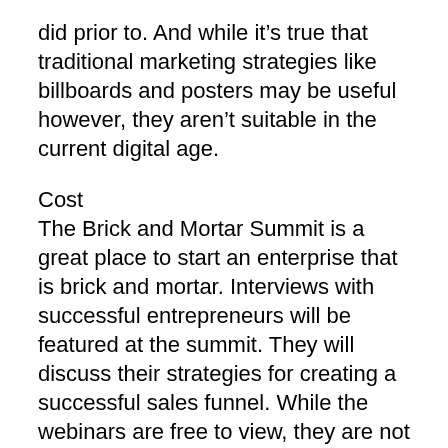did prior to. And while it's true that traditional marketing strategies like billboards and posters may be useful however, they aren't suitable in the current digital age.
Cost
The Brick and Mortar Summit is a great place to start an enterprise that is brick and mortar. Interviews with successful entrepreneurs will be featured at the summit. They will discuss their strategies for creating a successful sales funnel. While the webinars are free to view, they are not available for long. You can only access interview videos for 4 days.
There are two options to attend the Brick